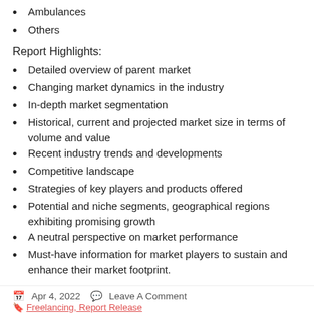Ambulances
Others
Report Highlights:
Detailed overview of parent market
Changing market dynamics in the industry
In-depth market segmentation
Historical, current and projected market size in terms of volume and value
Recent industry trends and developments
Competitive landscape
Strategies of key players and products offered
Potential and niche segments, geographical regions exhibiting promising growth
A neutral perspective on market performance
Must-have information for market players to sustain and enhance their market footprint.
Apr 4, 2022   Leave A Comment